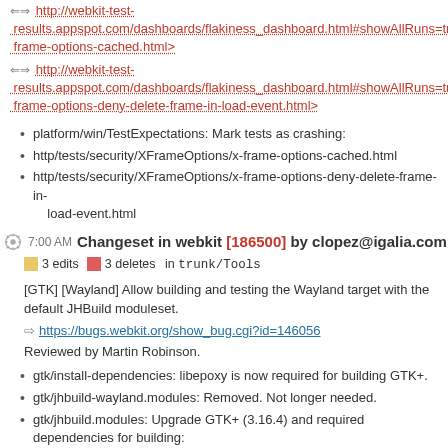⇒ http://webkit-test-results.appspot.com/dashboards/flakiness_dashboard.html#showAllRuns=true&frame-options-cached.html>
⇒ http://webkit-test-results.appspot.com/dashboards/flakiness_dashboard.html#showAllRuns=true&frame-options-deny-delete-frame-in-load-event.html>
platform/win/TestExpectations: Mark tests as crashing:
http/tests/security/XFrameOptions/x-frame-options-cached.html
http/tests/security/XFrameOptions/x-frame-options-deny-delete-frame-in-load-event.html
7:00 AM Changeset in webkit [186500] by clopez@igalia.com
3 edits  3 deletes  in trunk/Tools
[GTK] [Wayland] Allow building and testing the Wayland target with the default JHBuild moduleset.
https://bugs.webkit.org/show_bug.cgi?id=146056
Reviewed by Martin Robinson.
gtk/install-dependencies: libepoxy is now required for building GTK+.
gtk/jhbuild-wayland.modules: Removed. Not longer needed.
gtk/jhbuild.modules: Upgrade GTK+ (3.16.4) and required dependencies for building:
Cairo (1.14.2), Gdk-Pixbuf (2.30.8) and GLib (2.44.1).
gtk/patches/cairo-1.12.8-add_disable_lto.patch: Removed. Not longer needed.